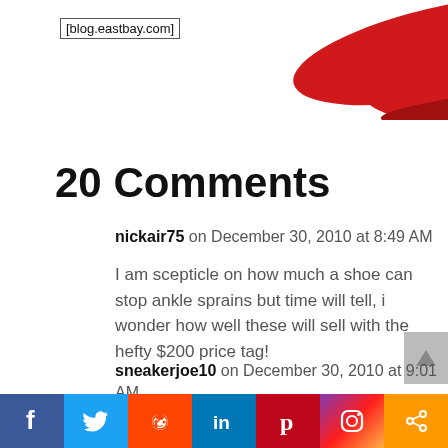[Figure (photo): Partial image of a red and white athletic shoe (sneaker) at the top of the page with a blog watermark label '[blog.eastbay.com]']
20 Comments
nickair75 on December 30, 2010 at 8:49 AM
I am scepticle on how much a shoe can stop ankle sprains but time will tell, i wonder how well these will sell with the hefty $200 price tag!
sneakerjoe10 on December 30, 2010 at 9:01 AM
im very interested to c what happens with these